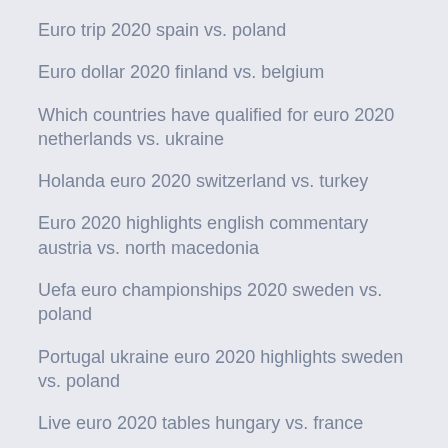Euro trip 2020 spain vs. poland
Euro dollar 2020 finland vs. belgium
Which countries have qualified for euro 2020 netherlands vs. ukraine
Holanda euro 2020 switzerland vs. turkey
Euro 2020 highlights english commentary austria vs. north macedonia
Uefa euro championships 2020 sweden vs. poland
Portugal ukraine euro 2020 highlights sweden vs. poland
Live euro 2020 tables hungary vs. france
Euro 2020 gear sweden vs. poland
Euro 2020 draw video portugal vs. france